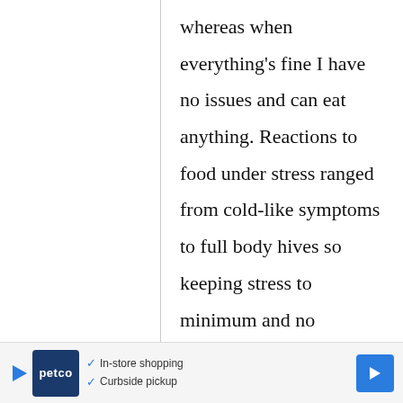whereas when everything's fine I have no issues and can eat anything. Reactions to food under stress ranged from cold-like symptoms to full body hives so keeping stress to minimum and no worrying about the small stuff, I totally support. Best wishes